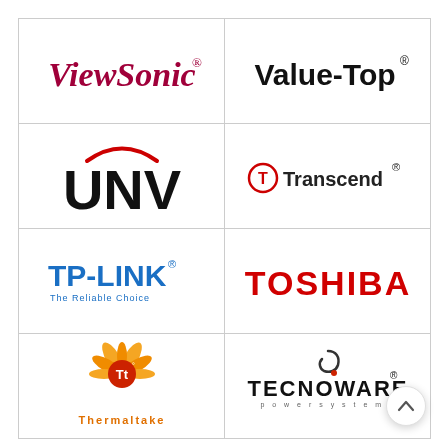[Figure (logo): ViewSonic logo in dark red italic serif font]
[Figure (logo): Value-Top logo in bold black sans-serif font with registered trademark symbol]
[Figure (logo): UNV logo with red arc above bold black letters]
[Figure (logo): Transcend logo with circular T icon in red and brand name]
[Figure (logo): TP-LINK logo in blue with tagline The Reliable Choice]
[Figure (logo): TOSHIBA logo in bold red capital letters]
[Figure (logo): Thermaltake logo with orange flame/swirl Tt icon and orange text]
[Figure (logo): Tecnoware power systems logo with swirl icon and registered trademark]